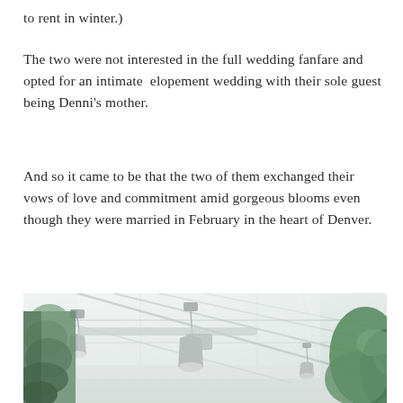to rent in winter.)
The two were not interested in the full wedding fanfare and opted for an intimate elopement wedding with their sole guest being Denni’s mother.
And so it came to be that the two of them exchanged their vows of love and commitment amid gorgeous blooms even though they were married in February in the heart of Denver.
[Figure (photo): Interior of a greenhouse/conservatory with glass roof panels, steel structural beams, hanging industrial pendant lights, a tall cypress tree on the left, and lush green plants on the right. The space is bright and airy.]